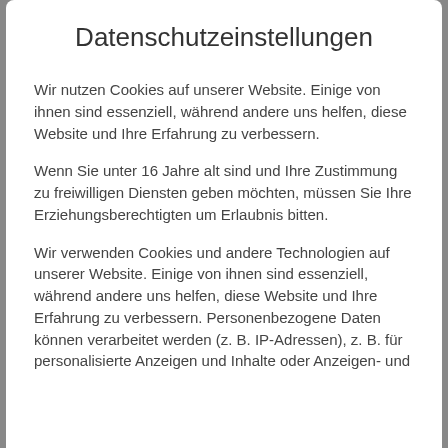Datenschutzeinstellungen
Wir nutzen Cookies auf unserer Website. Einige von ihnen sind essenziell, während andere uns helfen, diese Website und Ihre Erfahrung zu verbessern.
Wenn Sie unter 16 Jahre alt sind und Ihre Zustimmung zu freiwilligen Diensten geben möchten, müssen Sie Ihre Erziehungsberechtigten um Erlaubnis bitten.
Wir verwenden Cookies und andere Technologien auf unserer Website. Einige von ihnen sind essenziell, während andere uns helfen, diese Website und Ihre Erfahrung zu verbessern. Personenbezogene Daten können verarbeitet werden (z. B. IP-Adressen), z. B. für personalisierte Anzeigen und Inhalte oder Anzeigen- und
Essenziell
Externe Medien
Alle akzeptieren
Big Tom has been at home in the international European blues scene for over 30 years and convinces with an equally empathetic and entertaining